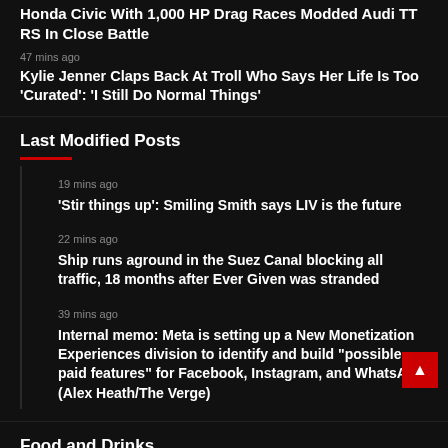Honda Civic With 1,000 HP Drag Races Modded Audi TT RS In Close Battle
47 mins ago
Kylie Jenner Claps Back At Troll Who Says Her Life Is Too 'Curated': 'I Still Do Normal Things'
Last Modified Posts
19 mins ago
'Stir things up': Smiling Smith says LIV is the future
22 mins ago
Ship runs aground in the Suez Canal blocking all traffic, 18 months after Ever Given was stranded
39 mins ago
Internal memo: Meta is setting up a New Monetization Experiences division to identify and build "possible paid features" for Facebook, Instagram, and WhatsApp (Alex Heath/The Verge)
Food and Drinks